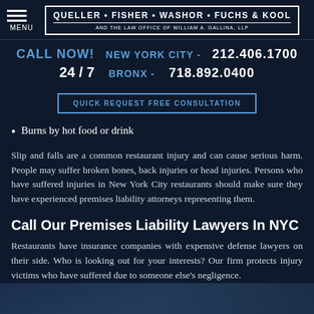MENU | QUELLER • FISHER • WASHOR • FUCHS & KOOL AND THE LAW OFFICE OF WILLIAM A. GALLINA, LLP
CALL NOW! NEW YORK CITY - 212.406.1700 24 / 7 BRONX - 718.892.0400
QUICK REQUEST FREE CONSULTATION
Burns by hot food or drink
Slip and falls are a common restaurant injury and can cause serious harm. People may suffer broken bones, back injuries or head injuries. Persons who have suffered injuries in New York City restaurants should make sure they have experienced premises liability attorneys representing them.
Call Our Premises Liability Lawyers In NYC
Restaurants have insurance companies with expensive defense lawyers on their side. Who is looking out for your interests? Our firm protects injury victims who have suffered due to someone else's negligence.
[Figure (photo): Bottom strip showing a blurred dark blue background image, likely a restaurant or street scene]